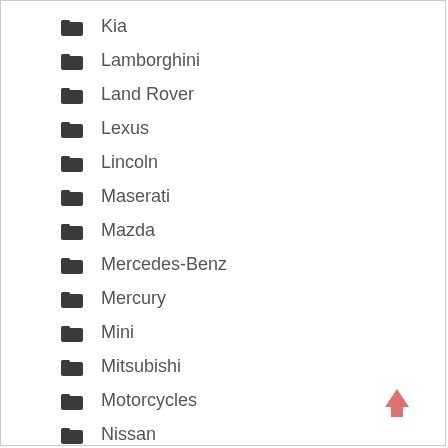Kia
Lamborghini
Land Rover
Lexus
Lincoln
Maserati
Mazda
Mercedes-Benz
Mercury
Mini
Mitsubishi
Motorcycles
Nissan
Old Cars